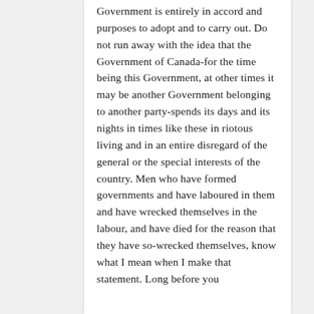Government is entirely in accord and purposes to adopt and to carry out. Do not run away with the idea that the Government of Canada-for the time being this Government, at other times it may be another Government belonging to another party-spends its days and its nights in times like these in riotous living and in an entire disregard of the general or the special interests of the country. Men who have formed governments and have laboured in them and have wrecked themselves in the labour, and have died for the reason that they have so-wrecked themselves, know what I mean when I make that statement. Long before you